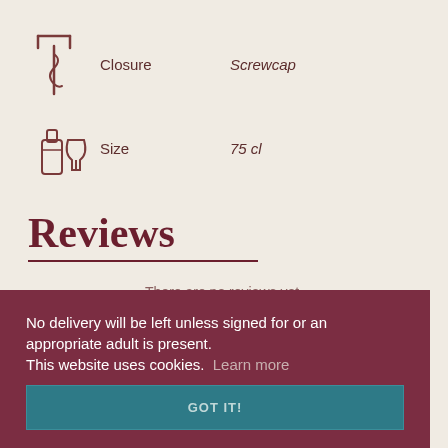[Figure (illustration): Corkscrew icon]
Closure
Screwcap
[Figure (illustration): Wine bottle and glass icon]
Size
75 cl
Reviews
There are no reviews yet.
No delivery will be left unless signed for or an appropriate adult is present.
This website uses cookies.  Learn more
GOT IT!